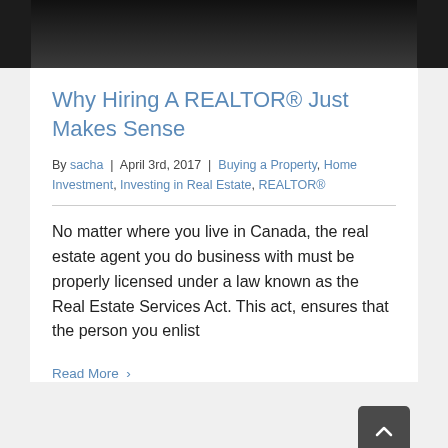[Figure (photo): Dark/black photo at top of page, partially cropped]
Why Hiring A REALTOR® Just Makes Sense
By sacha | April 3rd, 2017 | Buying a Property, Home Investment, Investing in Real Estate, REALTOR®
No matter where you live in Canada, the real estate agent you do business with must be properly licensed under a law known as the Real Estate Services Act. This act, ensures that the person you enlist
Read More ›